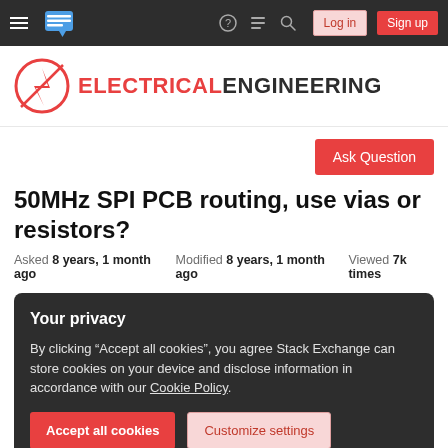Navigation bar with hamburger menu, Stack Exchange logo, help, chat, search icons, Log in and Sign up buttons
[Figure (logo): Electrical Engineering Stack Exchange logo — red circle with lightning bolt and text ELECTRICAL ENGINEERING]
Ask Question
50MHz SPI PCB routing, use vias or resistors?
Asked 8 years, 1 month ago   Modified 8 years, 1 month ago   Viewed 7k times
Your privacy
By clicking “Accept all cookies”, you agree Stack Exchange can store cookies on your device and disclose information in accordance with our Cookie Policy.
Accept all cookies   Customize settings
I tend not to use vias (I am not familiar with routing EMI rules) on the SPI and 50MHz